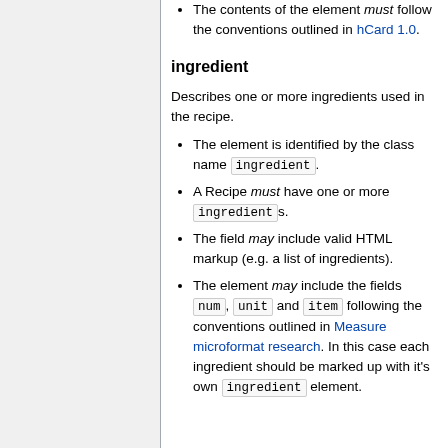The contents of the element must follow the conventions outlined in hCard 1.0.
ingredient
Describes one or more ingredients used in the recipe.
The element is identified by the class name ingredient.
A Recipe must have one or more ingredients.
The field may include valid HTML markup (e.g. a list of ingredients).
The element may include the fields num, unit and item following the conventions outlined in Measure microformat research. In this case each ingredient should be marked up with it's own ingredient element.